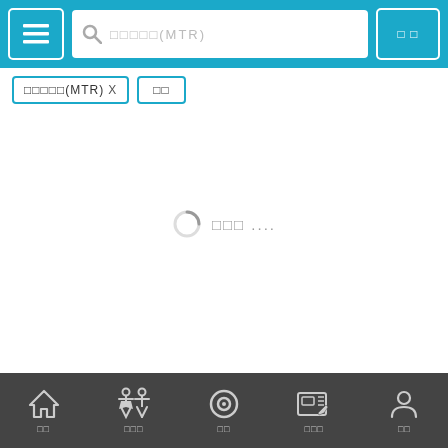[Figure (screenshot): Top navigation bar with teal/cyan background, hamburger menu button on left, search bar in center showing Korean placeholder text and (MTR), confirm button on right]
□□□□□(MTR) X
□□
□□□ ....
[Figure (screenshot): Bottom navigation bar with dark background showing 5 icons: home (집), restroom (화장실), center (전체), ATM (ATM기), person (마이)]